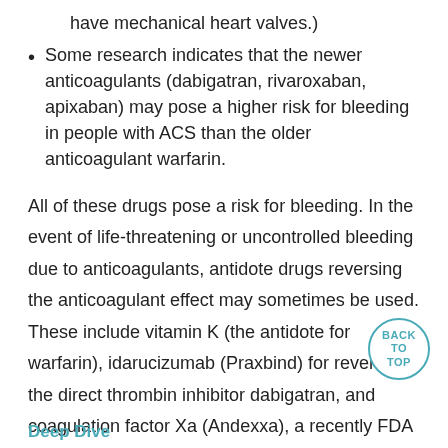have mechanical heart valves.)
Some research indicates that the newer anticoagulants (dabigatran, rivaroxaban, apixaban) may pose a higher risk for bleeding in people with ACS than the older anticoagulant warfarin.
All of these drugs pose a risk for bleeding. In the event of life-threatening or uncontrolled bleeding due to anticoagulants, antidote drugs reversing the anticoagulant effect may sometimes be used. These include vitamin K (the antidote for warfarin), idarucizumab (Praxbind) for reversal of the direct thrombin inhibitor dabigatran, and coagulation factor Xa (Andexxa), a recently FDA approved drug reversing the effects of rivaroxaban and apixaban.
Deep Dive